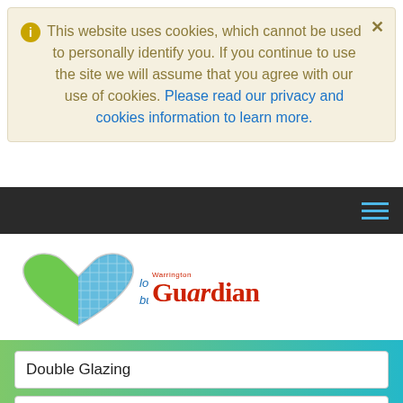This website uses cookies, which cannot be used to personally identify you. If you continue to use the site we will assume that you agree with our use of cookies. Please read our privacy and cookies information to learn more.
[Figure (screenshot): Dark navigation bar with hamburger menu icon (three horizontal lines in blue)]
[Figure (logo): Love Local Business logo with heart shape and Warrington Guardian logo in red]
[Figure (screenshot): Search area with green-to-blue gradient background, containing search fields for 'Double Glazing' and 'UK, town or postcode', plus a Search button]